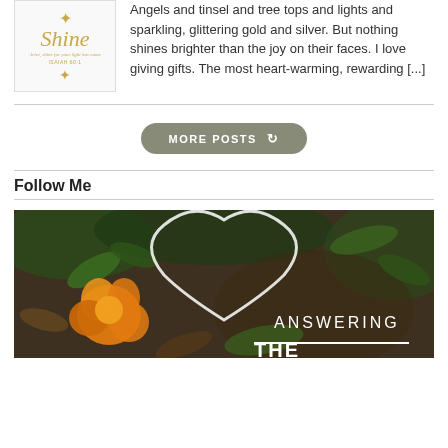[Figure (illustration): Shine logo with gold script text, starburst, subtitle and Isaiah verse reference]
Angels and tinsel and tree tops and lights and sparkling, glittering gold and silver. But nothing shines brighter than the joy on their faces. I love giving gifts. The most heart-warming, rewarding [...]
[Figure (other): MORE POSTS button with refresh icon, rounded rectangle shape in olive/grey color]
Follow Me
[Figure (photo): Photo of orange flower with dark garden background and heart-shaped frame overlay with text ANSWERING THE...]